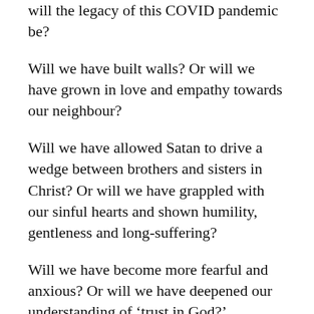will the legacy of this COVID pandemic be?
Will we have built walls? Or will we have grown in love and empathy towards our neighbour?
Will we have allowed Satan to drive a wedge between brothers and sisters in Christ? Or will we have grappled with our sinful hearts and shown humility, gentleness and long-suffering?
Will we have become more fearful and anxious? Or will we have deepened our understanding of ‘trust in God?’
The pandemic has brought about many